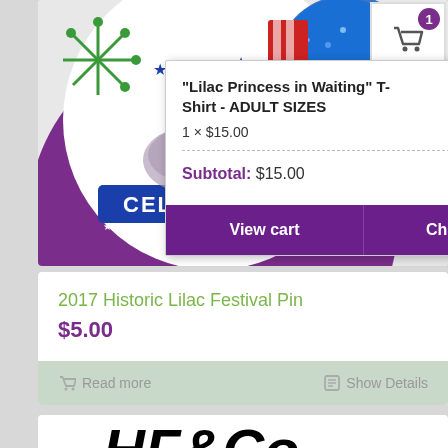[Figure (screenshot): Festival product image with purple circle, fireworks, stars, and 'CELEBRATE' banner, blue glitter decoration]
"Lilac Princess in Waiting" T-Shirt - ADULT SIZES
1 × $15.00
Subtotal: $15.00
View cart
Checkout
2017 Historic Lilac Festival Pin
$5.00
Read more
Show Details
[Figure (photo): Partially visible black and white logo text at bottom of page]